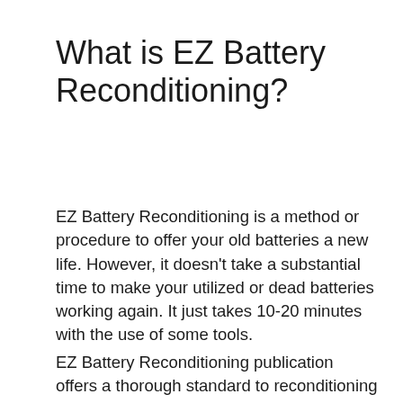What is EZ Battery Reconditioning?
EZ Battery Reconditioning is a method or procedure to offer your old batteries a new life. However, it doesn't take a substantial time to make your utilized or dead batteries working again. It just takes 10-20 minutes with the use of some tools.
EZ Battery Reconditioning publication offers a thorough standard to reconditioning 10